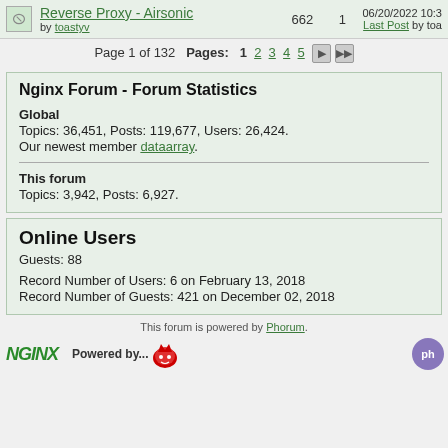Reverse Proxy - Airsonic by toastyv | 662 | 1 | 06/20/2022 10:3... Last Post by toa...
Page 1 of 132  Pages: 1 2 3 4 5 ▶ ▶▶
Nginx Forum - Forum Statistics
Global
Topics: 36,451, Posts: 119,677, Users: 26,424.
Our newest member dataarray.
This forum
Topics: 3,942, Posts: 6,927.
Online Users
Guests: 88
Record Number of Users: 6 on February 13, 2018
Record Number of Guests: 421 on December 02, 2018
This forum is powered by Phorum.